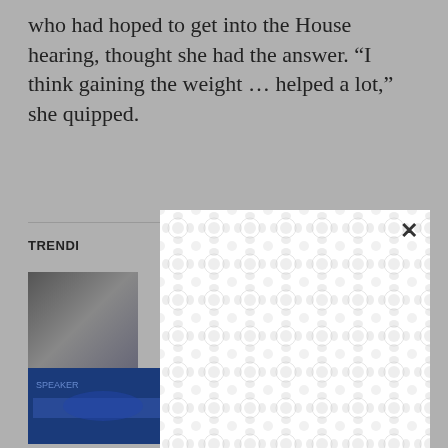who had hoped to get into the House hearing, thought she had the answer. “I think gaining the weight … helped a lot,” she quipped.
TRENDI
[Figure (photo): Thumbnail photo of a person from behind]
ut
[Figure (photo): Thumbnail photo of a Biden rally crowd]
Biden rally blasts GOP, but real midterm effect will come on the road
[Figure (other): Advertisement overlay with chain-link/bubble pattern background and close X button]